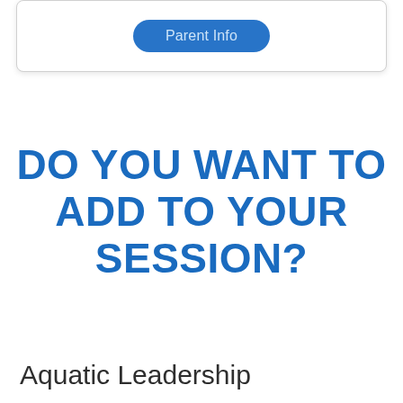[Figure (screenshot): A rounded card/panel with a blue pill-shaped button labeled 'Parent Info' in light blue text on a dark blue background.]
DO YOU WANT TO ADD TO YOUR SESSION?
Aquatic Leadership